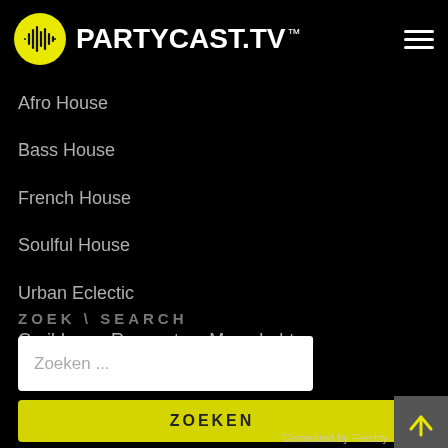[Figure (logo): PARTYCAST.TV logo with yellow circle icon containing audio waveform and white bold text 'PARTYCAST.TV' with TM mark]
Afro House
Bass House
French House
Soulful House
Urban Eclectic
Caribbean, Reggeaton, Moombahton
ZOEK \ SEARCH
Zoeken ...
ZOEKEN
Generated by Feedzy